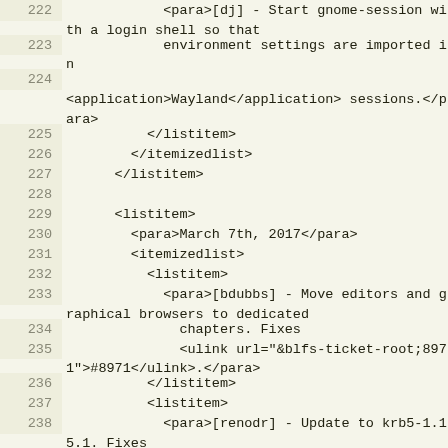222   <para>[dj] - Start gnome-session with a login shell so that
223           environment settings are imported in
224
<application>Wayland</application> sessions.</para>
225           </listitem>
226         </itemizedlist>
227       </listitem>
228
229       <listitem>
230         <para>March 7th, 2017</para>
231         <itemizedlist>
232           <listitem>
233             <para>[bdubbs] - Move editors and graphical browsers to dedicated
234               chapters. Fixes
235               <ulink url="&blfs-ticket-root;8971">#8971</ulink>.</para>
236           </listitem>
237           <listitem>
238             <para>[renodr] - Update to krb5-1.15.1. Fixes